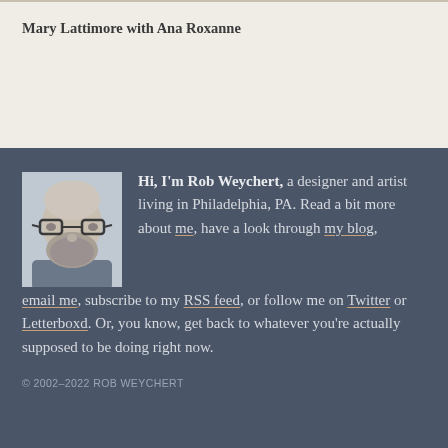Mary Lattimore with Ana Roxanne
[Figure (photo): Black and white portrait photo of a bald man with a long beard wearing glasses]
Hi, I'm Rob Weychert, a designer and artist living in Philadelphia, PA. Read a bit more about me, have a look through my blog, email me, subscribe to my RSS feed, or follow me on Twitter or Letterboxd. Or, you know, get back to whatever you're actually supposed to be doing right now.
© 2002–2022 ROB WEYCHERT